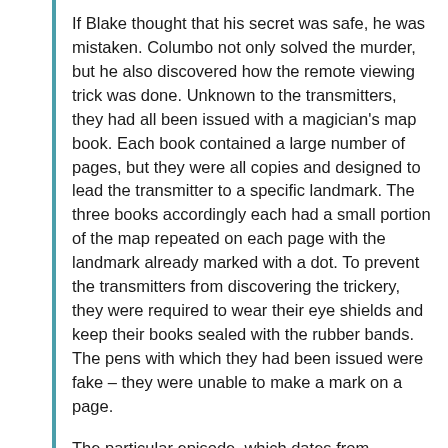If Blake thought that his secret was safe, he was mistaken. Columbo not only solved the murder, but he also discovered how the remote viewing trick was done. Unknown to the transmitters, they had all been issued with a magician's map book. Each book contained a large number of pages, but they were all copies and designed to lead the transmitter to a specific landmark. The three books accordingly each had a small portion of the map repeated on each page with the landmark already marked with a dot. To prevent the transmitters from discovering the trickery, they were required to wear their eye shields and keep their books sealed with the rubber bands. The pens with which they had been issued were fake – they were unable to make a mark on a page.
The particular episode, which dates from